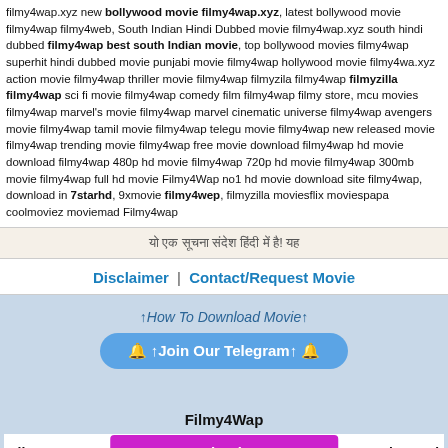filmy4wap.xyz new bollywood movie filmy4wap.xyz, latest bollywood movie filmy4wap filmy4web, South Indian Hindi Dubbed movie filmy4wap.xyz south hindi dubbed filmy4wap best south Indian movie, top bollywood movies filmy4wap superhit hindi dubbed movie punjabi movie filmy4wap hollywood movie filmy4wa.xyz action movie filmy4wap thriller movie filmy4wap filmyzila filmy4wap filmyzilla filmy4wap sci fi movie filmy4wap comedy film filmy4wap filmy store, mcu movies filmy4wap marvel's movie filmy4wap marvel cinematic universe filmy4wap avengers movie filmy4wap tamil movie filmy4wap telegu movie filmy4wap new released movie filmy4wap trending movie filmy4wap free movie download filmy4wap hd movie download filmy4wap 480p hd movie filmy4wap 720p hd movie filmy4wap 300mb movie filmy4wap full hd movie Filmy4Wap no1 hd movie download site filmy4wap, download in 7starhd, 9xmovie filmy4wep, filmyzilla moviesflix moviespapa coolmoviez moviemad Filmy4wap
यो एक सूचना संदेश हिंदी में है! यह
Disclaimer | Contact/Request Movie
↑How To Download Movie↑
🔔 ↑Join Our Telegram↑ 🔔
Filmy4Wap
Filmy4... Download Now ...ies And
Other Premium Content For Free!